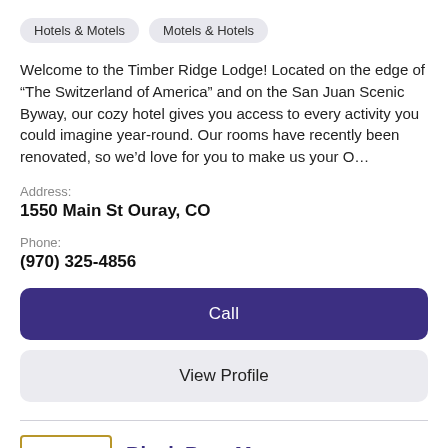Hotels & Motels
Motels & Hotels
Welcome to the Timber Ridge Lodge! Located on the edge of “The Switzerland of America” and on the San Juan Scenic Byway, our cozy hotel gives you access to every activity you could imagine year-round. Our rooms have recently been renovated, so we’d love for you to make us your O…
Address:
1550 Main St Ouray, CO
Phone:
(970) 325-4856
Call
View Profile
[Figure (logo): Black Bear Manor logo: a stylized black bear silhouette above the text BLACK BEAR MANOR in bold uppercase letters]
Black Bear Manor